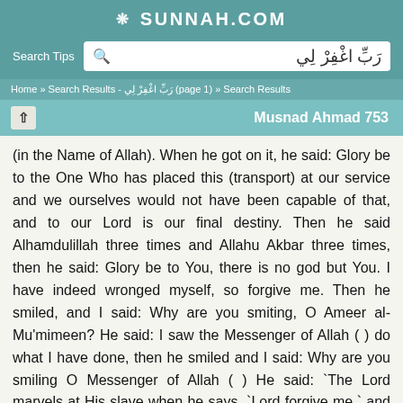SUNNAH.COM
Search Tips  رَبِّ اغْفِرْ لِي
Home » Search Results - رَبِّ اغْفِرْ لِي (page 1) » Search Results
Musnad Ahmad 753
(in the Name of Allah). When he got on it, he said: Glory be to the One Who has placed this (transport) at our service and we ourselves would not have been capable of that, and to our Lord is our final destiny. Then he said Alhamdulillah three times and Allahu Akbar three times, then he said: Glory be to You, there is no god but You. I have indeed wronged myself, so forgive me. Then he smiled, and I said: Why are you smiting, O Ameer al-Mu'mimeen? He said: I saw the Messenger of Allah ( ) do what I have done, then he smiled and I said: Why are you smiling O Messenger of Allah ( ) He said: `The Lord marvels at His slave when he says, `Lord forgive me,` and He says: `My slave knows that no one forgives sins but Me.`